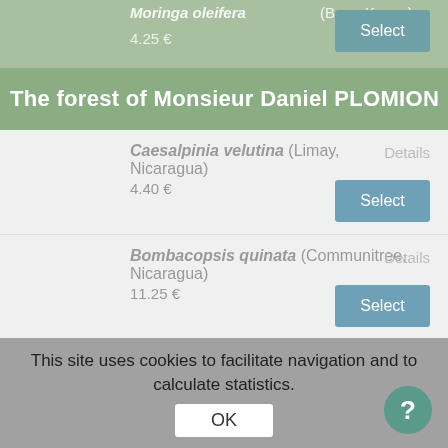Moringa oleifera (Bore, Kenya)
4.25 €
The forest of Monsieur Daniel PLOMION
Caesalpinia velutina (Limay, Nicaragua)
4.40 €
Bombacopsis quinata (Communitree, Nicaragua)
11.25 €
Swietenia humilis (Communitree, Nicaragua)
17.50 €
Dolichandrone serrulata (Conserve...
This site uses cookies to facilitate navigation and to calculate statistics.